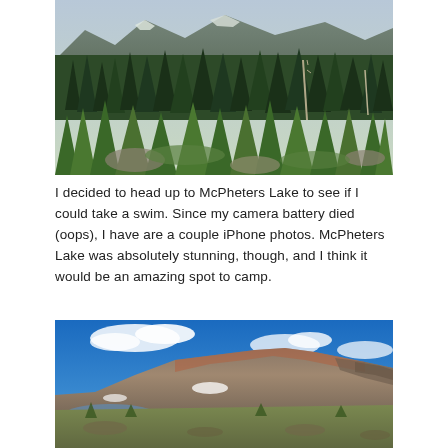[Figure (photo): Landscape photo of a mountain forest with tall evergreen pine trees, rocky terrain, and snow-dusted peaks in the background under soft light.]
I decided to head up to McPheters Lake to see if I could take a swim. Since my camera battery died (oops), I have are a couple iPhone photos. McPheters Lake was absolutely stunning, though, and I think it would be an amazing spot to camp.
[Figure (photo): Panoramic photo of McPheters Lake area with rugged rocky mountain peaks, a blue sky with scattered white clouds, snow patches on the slopes, and a green meadow in the foreground.]